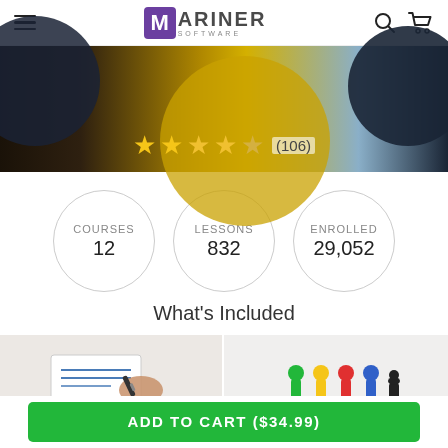Mariner Software — navigation header with hamburger menu, logo, search and cart icons
[Figure (photo): Banner image showing close-up of colored discs/records on dark background with star rating overlay. 2 bright gold stars, 2 lighter gold stars, 1 partial gold star, rating count (106).]
COURSES 12
LESSONS 832
ENROLLED 29,052
What's Included
[Figure (photo): Left preview image: person writing/drawing with a pen on paper]
[Figure (photo): Right preview image: colorful board game pieces/pawns on white background]
ADD TO CART ($34.99)